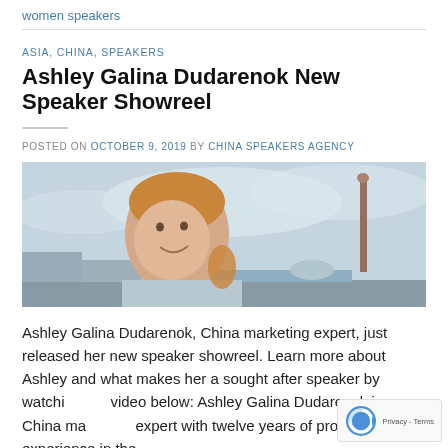women speakers
ASIA, CHINA, SPEAKERS
Ashley Galina Dudarenok New Speaker Showreel
POSTED ON OCTOBER 9, 2019 BY CHINA SPEAKERS AGENCY
[Figure (photo): Ashley Galina Dudarenok smiling outdoors in front of a tall monument column and city skyline with cloudy sky]
Ashley Galina Dudarenok, China marketing expert, just released her new speaker showreel. Learn more about Ashley and what makes her a sought after speaker by watching the video below: Ashley Galina Dudarenok is a China marketing expert with twelve years of professional experience in the